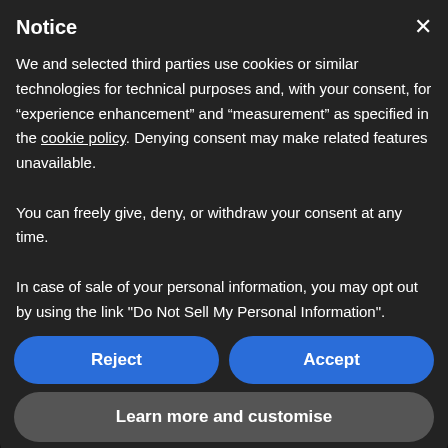Notice
We and selected third parties use cookies or similar technologies for technical purposes and, with your consent, for “experience enhancement” and “measurement” as specified in the cookie policy. Denying consent may make related features unavailable.
You can freely give, deny, or withdraw your consent at any time.
In case of sale of your personal information, you may opt out by using the link "Do Not Sell My Personal Information".
Reject
Accept
Learn more and customise